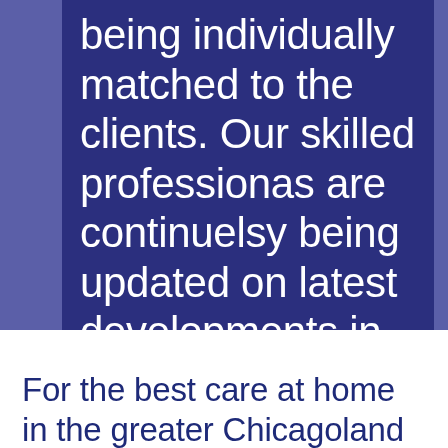being individually matched to the clients. Our skilled professionas are continuelsy being updated on latest developments in medical care.
For the best care at home in the greater Chicagoland area talk to